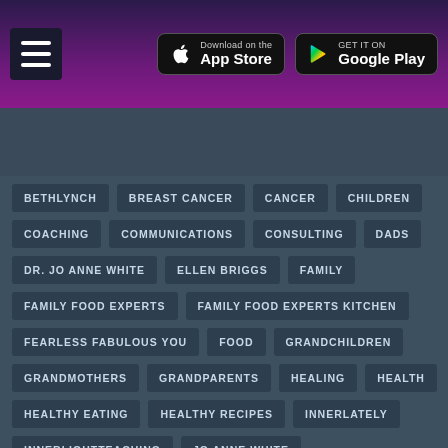[Figure (screenshot): App store download buttons header with hamburger menu icon, Apple App Store button and Google Play button on dark purple/magenta gradient background]
BETHLYNCH
BREAST CANCER
CANCER
CHILDREN
COACHING
COMMUNICATIONS
CONSULTING
DADS
DR. JO ANNE WHITE
ELLEN BRIGGS
FAMILY
FAMILY FOOD EXPERTS
FAMILY FOOD EXPERTS KITCHEN
FEARLESS FABULOUS YOU
FOOD
GRANDCHILDREN
GRANDMOTHERS
GRANDPARENTS
HEALING
HEALTH
HEALTHY EATING
HEALTHY RECIPES
INNERLATELY
INNERLIGHTTEACHING
JO ANNE WHITE